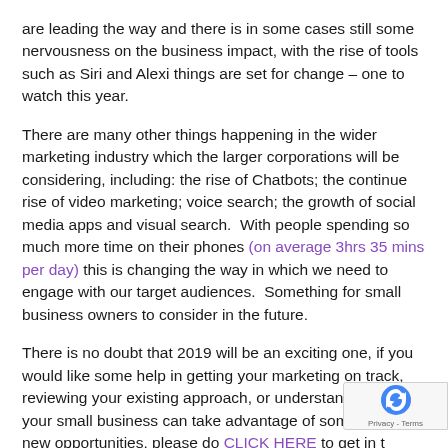are leading the way and there is in some cases still some nervousness on the business impact, with the rise of tools such as Siri and Alexi things are set for change – one to watch this year.
There are many other things happening in the wider marketing industry which the larger corporations will be considering, including: the rise of Chatbots; the continue rise of video marketing; voice search; the growth of social media apps and visual search.  With people spending so much more time on their phones (on average 3hrs 35 mins per day) this is changing the way in which we need to engage with our target audiences.  Something for small business owners to consider in the future.
There is no doubt that 2019 will be an exciting one, if you would like some help in getting your marketing on track, reviewing your existing approach, or understanding how your small business can take advantage of some of the new opportunities, please do CLICK HERE to get in t